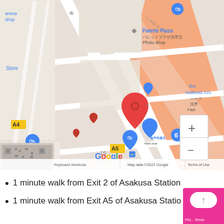[Figure (map): Google Maps screenshot showing Asakusa area in Tokyo, Japan. Red location pin visible near center. Shows landmarks including Palette Plaza photo shop, FRAME SHIROYAMA picture frame shop, 株式会社イーネクスト, 金平呉服店 fabric store, U-fort 浅草雷門. Map data ©2022 Google. Zoom controls visible bottom right. Bus stop marker and A4, A5 exit markers visible.]
1 minute walk from Exit 2 of Asakusa Station
1 minute walk from Exit A5 of Asakusa Station